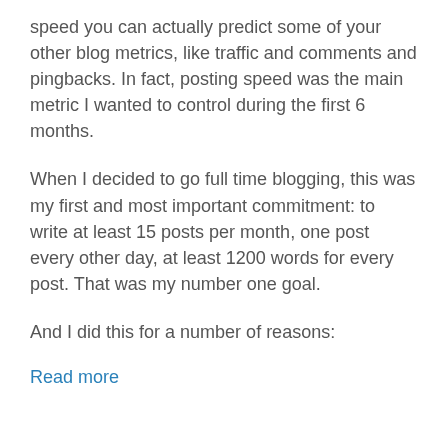speed you can actually predict some of your other blog metrics, like traffic and comments and pingbacks. In fact, posting speed was the main metric I wanted to control during the first 6 months.
When I decided to go full time blogging, this was my first and most important commitment: to write at least 15 posts per month, one post every other day, at least 1200 words for every post. That was my number one goal.
And I did this for a number of reasons:
Read more
Blogging, Digital Tools, Getting Things Done, Mind Mapping, Personal Development, Productivity